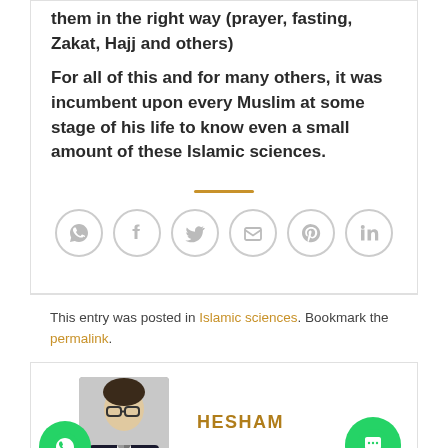them in the right way (prayer, fasting, Zakat, Hajj and others)
For all of this and for many others, it was incumbent upon every Muslim at some stage of his life to know even a small amount of these Islamic sciences.
[Figure (infographic): Social share icons: WhatsApp, Facebook, Twitter, Email, Pinterest, LinkedIn — all circular with grey border outlines]
This entry was posted in Islamic sciences. Bookmark the permalink.
[Figure (photo): Author photo of Hesham, a man with glasses wearing a suit, with WhatsApp floating button and chat floating button]
HESHAM